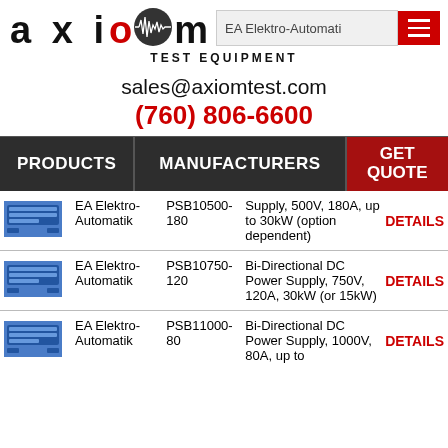[Figure (logo): Axiom Test Equipment logo with stylized waveform icon and red square accent]
TEST EQUIPMENT
sales@axiomtest.com
(760) 806-6600
PRODUCTS | MANUFACTURERS | GET QUOTE
| [Image] | Manufacturer | Model | Description | Action |
| --- | --- | --- | --- | --- |
| [img] | EA Elektro-Automatik | PSB10500-180 | Supply, 500V, 180A, up to 30kW (option dependent) | DETAILS |
| [img] | EA Elektro-Automatik | PSB10750-120 | Bi-Directional DC Power Supply, 750V, 120A, 30kW (or 15kW) | DETAILS |
| [img] | EA Elektro-Automatik | PSB11000-80 | Bi-Directional DC Power Supply, 1000V, 80A, up to | DETAILS |